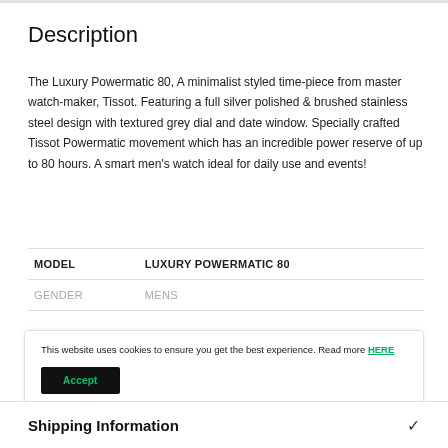Description
The Luxury Powermatic 80, A minimalist styled time-piece from master watch-maker, Tissot. Featuring a full silver polished & brushed stainless steel design with textured grey dial and date window. Specially crafted Tissot Powermatic movement which has an incredible power reserve of up to 80 hours. A smart men's watch ideal for daily use and events!
|  |  |
| --- | --- |
| MODEL | LUXURY POWERMATIC 80 |
| GENDER | MENS |
This website uses cookies to ensure you get the best experience. Read more HERE
Shipping Information